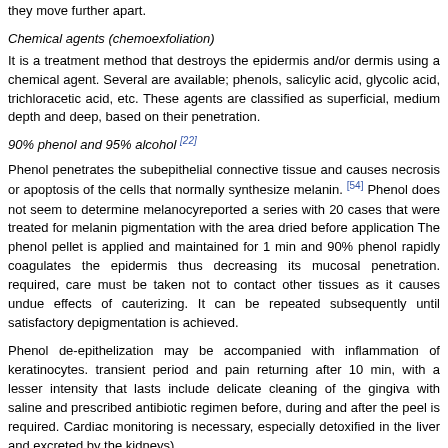they move further apart.
Chemical agents (chemoexfoliation)
It is a treatment method that destroys the epidermis and/or dermis using a chemical agent. Several are available; phenols, salicylic acid, glycolic acid, trichloracetic acid, etc. These agents are classified as superficial, medium depth and deep, based on their penetration.
90% phenol and 95% alcohol [22]
Phenol penetrates the subepithelial connective tissue and causes necrosis or apoptosis of the cells that normally synthesize melanin. [54] Phenol does not seem to determine melanocyte... reported a series with 20 cases that were treated for melanin pigmentation with the area dried before application The phenol pellet is applied and maintained for 1 min and... 90% phenol rapidly coagulates the epidermis thus decreasing its mucosal pen... required, care must be taken not to contact other tissues as it causes undue effects... cauterizing. It can be repeated subsequently until satisfactory depigmentation is ach...
Phenol de-epithelization may be accompanied with inflammation of keratinocytes. transient period and pain returning after 10 min, with a lesser intensity that lasts include delicate cleaning of the gingiva with saline and prescribed antibiotic regim... before, during and after the peel is required. Cardiac monitoring is necessary, espe... detoxified in the liver and excreted by the kidneys).